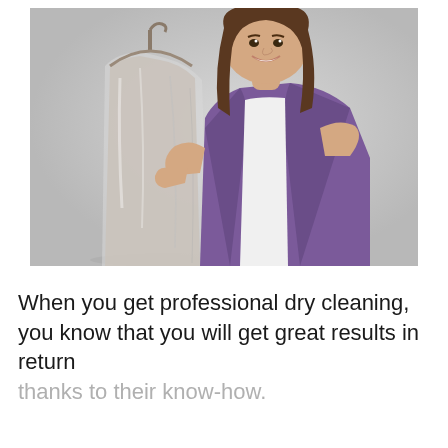[Figure (photo): A smiling young woman with long brown hair wearing a purple blazer over a white top, holding up a coat covered in dry cleaning plastic wrap on a wooden hanger, against a light grey background.]
When you get professional dry cleaning, you know that you will get great results in return thanks to their know-how.